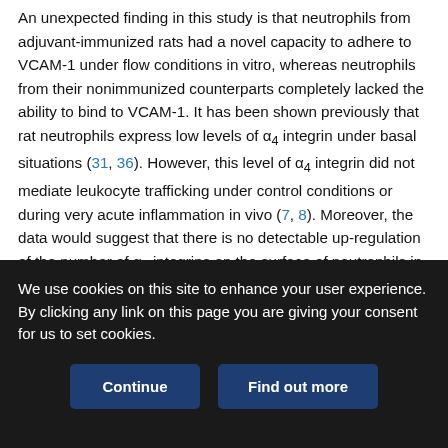An unexpected finding in this study is that neutrophils from adjuvant-immunized rats had a novel capacity to adhere to VCAM-1 under flow conditions in vitro, whereas neutrophils from their nonimmunized counterparts completely lacked the ability to bind to VCAM-1. It has been shown previously that rat neutrophils express low levels of α4 integrin under basal situations (31, 36). However, this level of α4 integrin did not mediate leukocyte trafficking under control conditions or during very acute inflammation in vivo (7, 8). Moreover, the data would suggest that there is no detectable up-regulation of the number of α4 integrins on the surface of neutrophils in adjuvant-immunized rats. However, there is a dramatic increase in the VCAM-1 binding affinity of the neutrophils, suggesting either increased affinity or
We use cookies on this site to enhance your user experience. By clicking any link on this page you are giving your consent for us to set cookies.